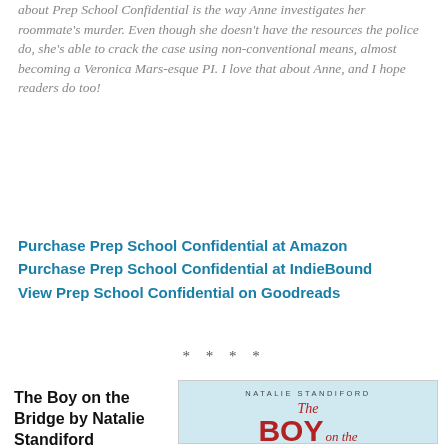about Prep School Confidential is the way Anne investigates her roommate's murder. Even though she doesn't have the resources the police do, she's able to crack the case using non-conventional means, almost becoming a Veronica Mars-esque PI. I love that about Anne, and I hope readers do too!
Purchase Prep School Confidential at Amazon
Purchase Prep School Confidential at IndieBound
View Prep School Confidential on Goodreads
* * * *
The Boy on the Bridge by Natalie Standiford
Hardcover Giveaway
Scholastic
Released 7/30/2013
[Figure (illustration): Book cover of 'The Boy on the Bridge' by Natalie Standiford, showing the title in red text with a couple and Russian architecture in the background.]